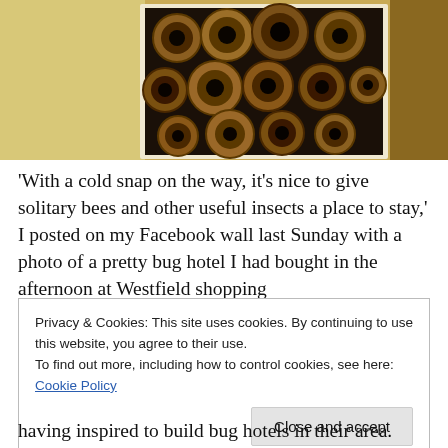[Figure (photo): Close-up photo of bundled hollow tubes (bamboo or similar) arranged in a wooden box forming a bug hotel, with warm golden-brown tones]
'With a cold snap on the way, it's nice to give solitary bees and other useful insects a place to stay,' I posted on my Facebook wall last Sunday with a photo of a pretty bug hotel I had bought in the afternoon at Westfield shopping
Privacy & Cookies: This site uses cookies. By continuing to use this website, you agree to their use.
To find out more, including how to control cookies, see here: Cookie Policy
Close and accept
having inspired to build bug hotels in their area.